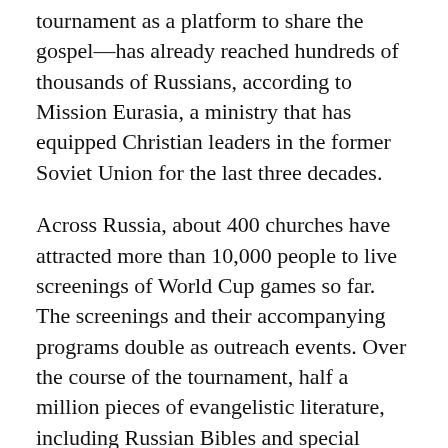tournament as a platform to share the gospel—has already reached hundreds of thousands of Russians, according to Mission Eurasia, a ministry that has equipped Christian leaders in the former Soviet Union for the last three decades.
Across Russia, about 400 churches have attracted more than 10,000 people to live screenings of World Cup games so far. The screenings and their accompanying programs double as outreach events. Over the course of the tournament, half a million pieces of evangelistic literature, including Russian Bibles and special editions of John's gospel that include directions to local churches, have been handed out.
That the Russian team made it so deep into the